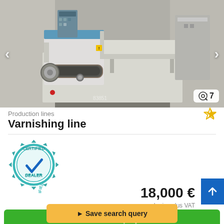[Figure (photo): Industrial varnishing/finishing machine (production line) in a warehouse setting, showing a white machine with conveyor belt and rollers. Navigation arrows on left and right sides. Image count badge showing 7 in bottom right.]
Production lines
Varnishing line
[Figure (illustration): Certified Dealer badge - circular teal gear-shaped badge with checkmark and text 'CERTIFIED DEALER']
18,000 €
d price plus VAT
Save search query
Send Inquiry